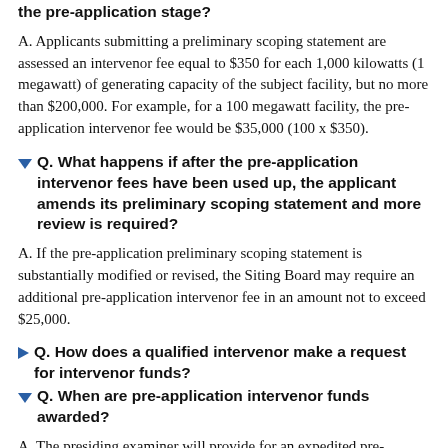the pre-application stage?
A. Applicants submitting a preliminary scoping statement are assessed an intervenor fee equal to $350 for each 1,000 kilowatts (1 megawatt) of generating capacity of the subject facility, but no more than $200,000. For example, for a 100 megawatt facility, the pre-application intervenor fee would be $35,000 (100 x $350).
Q. What happens if after the pre-application intervenor fees have been used up, the applicant amends its preliminary scoping statement and more review is required?
A. If the pre-application preliminary scoping statement is substantially modified or revised, the Siting Board may require an additional pre-application intervenor fee in an amount not to exceed $25,000.
Q. How does a qualified intervenor make a request for intervenor funds?
Q. When are pre-application intervenor funds awarded?
A. The presiding examiner will provide for an expedited pre-application funding disbursement schedule to assure early and meaningful public involvement. Following receipt of initial requests for pre-application funds, the presiding examiner shall